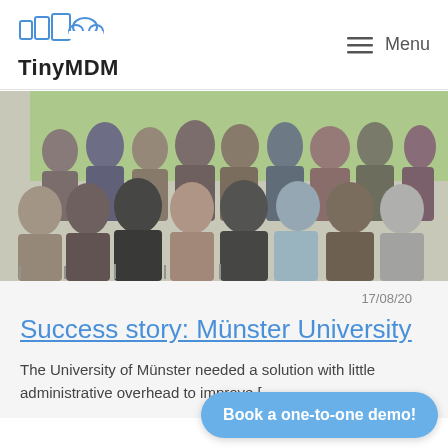TinyMDM  Menu
[Figure (photo): Audience of students/attendees seated in rows at an academic event, photographed in a bright room with green walls.]
17/08/20
Success story: Münster University
The University of Münster needed a solution with little administrative overhead to improve [...